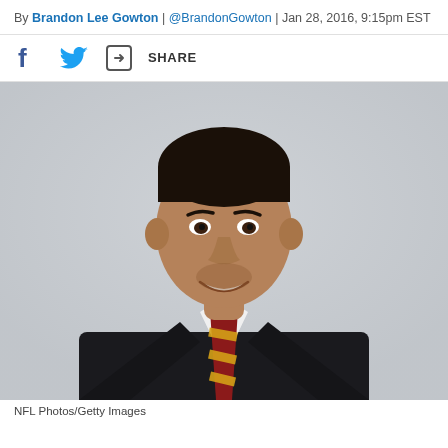By Brandon Lee Gowton | @BrandonGowton | Jan 28, 2016, 9:15pm EST
[Figure (other): Social sharing bar with Facebook icon, Twitter bird icon, and share icon with SHARE text]
[Figure (photo): Headshot photo of a man in a black suit jacket, white shirt, and maroon/gold striped tie against a light gray background. NFL team official portrait style.]
NFL Photos/Getty Images